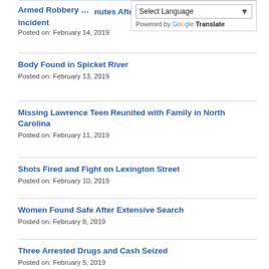Posted on: February 14, 2019
Armed Robbery Suspect in Custody Mi... After Incident
Posted on: February 14, 2019
Body Found in Spicket River
Posted on: February 13, 2019
Missing Lawrence Teen Reunited with Family in North Carolina
Posted on: February 11, 2019
Shots Fired and Fight on Lexington Street
Posted on: February 10, 2019
Women Found Safe After Extensive Search
Posted on: February 8, 2019
Three Arrested Drugs and Cash Seized
Posted on: February 5, 2019